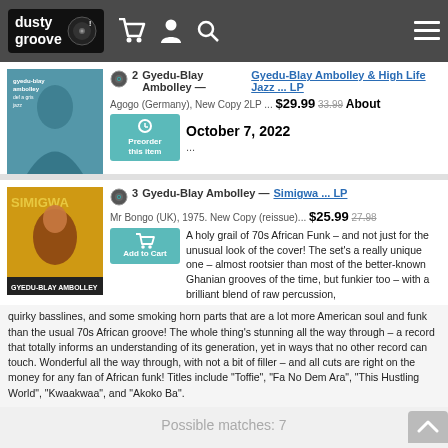dusty groove
2 Gyedu-Blay Ambolley — Gyedu-Blay Ambolley & High Life Jazz ... LP
Agogo (Germany), New Copy 2LP ... $29.99 33.99 About October 7, 2022
...
3 Gyedu-Blay Ambolley — Simigwa ... LP
Mr Bongo (UK), 1975. New Copy (reissue)... $25.99 27.98
A holy grail of 70s African Funk – and not just for the unusual look of the cover! The set's a really unique one – almost rootsier than most of the better-known Ghanian grooves of the time, but funkier too – with a brilliant blend of raw percussion, quirky basslines, and some smoking horn parts that are a lot more American soul and funk than the usual 70s African groove! The whole thing's stunning all the way through – a record that totally informs an understanding of its generation, yet in ways that no other record can touch. Wonderful all the way through, with not a bit of filler – and all cuts are right on the money for any fan of African funk! Titles include "Toffie", "Fa No Dem Ara", "This Hustling World", "Kwaakwaa", and "Akoko Ba".
Possible matches: 7